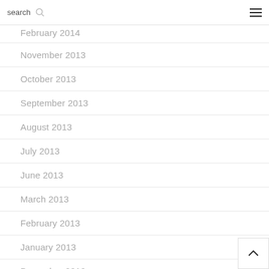search  ☰
February 2014
November 2013
October 2013
September 2013
August 2013
July 2013
June 2013
March 2013
February 2013
January 2013
December 2012
November 2012
October 2012